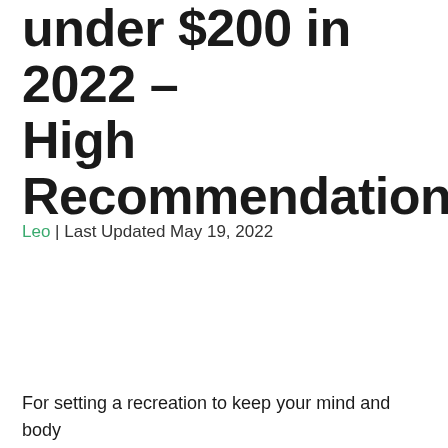10 Best Golf Drivers under $200 in 2022 – High Recommendation
Leo | Last Updated May 19, 2022
For setting a recreation to keep your mind and body healthy, golfing is an amazing game. Many people